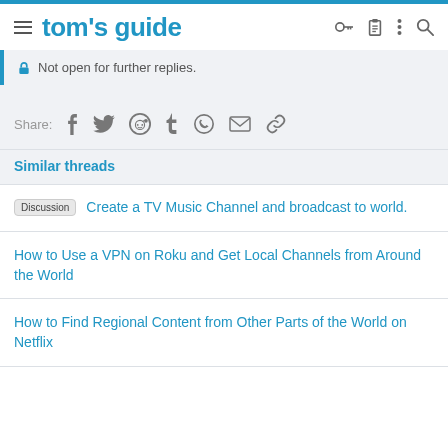tom's guide
Not open for further replies.
Share: [facebook] [twitter] [reddit] [tumblr] [whatsapp] [email] [link]
Similar threads
Discussion  Create a TV Music Channel and broadcast to world.
How to Use a VPN on Roku and Get Local Channels from Around the World
How to Find Regional Content from Other Parts of the World on Netflix